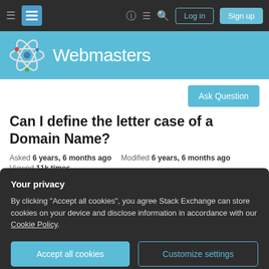Stack Exchange Webmasters - navigation bar with Log in and Sign up buttons
[Figure (logo): Webmasters Stack Exchange site header with atomic icon logo and title 'Webmasters' on light blue background]
Ask Question
Can I define the letter case of a Domain Name?
Asked 6 years, 6 months ago   Modified 6 years, 6 months ago
Viewed 11k times
Your privacy
By clicking "Accept all cookies", you agree Stack Exchange can store cookies on your device and disclose information in accordance with our Cookie Policy.
Accept all cookies   Customize settings
lower case letters, I wonder if this may affect the